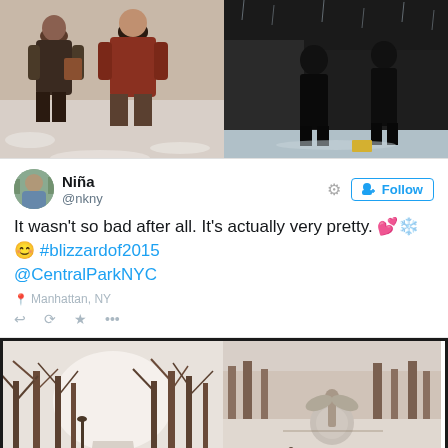[Figure (photo): Two photos side by side: left shows two people standing in snow outdoors in winter clothes; right shows a person in dark clothing standing in snowy conditions near a wall.]
Niña
@nkny
It wasn't so bad after all. It's actually very pretty. 💕❄️😊 #blizzardof2015 @CentralParkNYC
Manhattan, NY
[Figure (photo): Two side-by-side photos of Central Park in winter: left shows a snow-covered tree-lined path with people walking; right shows an open snowy area with a fountain/statue and many people walking around.]